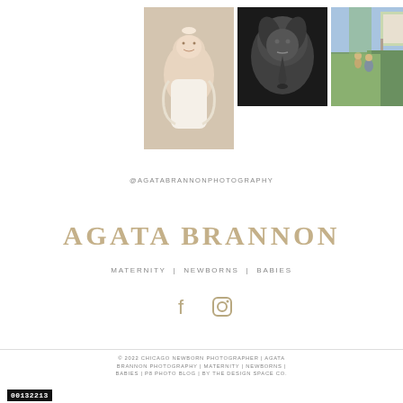[Figure (photo): Three photography portfolio photos: newborn baby in white lace, elephant in black and white, family outdoors in field]
@AGATABRANNONPHOTOGRAPHY
AGATA BRANNON
MATERNITY | NEWBORNS | BABIES
[Figure (illustration): Facebook and Instagram social media icons in tan/gold color]
© 2022 CHICAGO NEWBORN PHOTOGRAPHER | AGATA BRANNON PHOTOGRAPHY | MATERNITY | NEWBORNS | BABIES | P8 PHOTO BLOG | BY THE DESIGN SPACE CO.
00132213